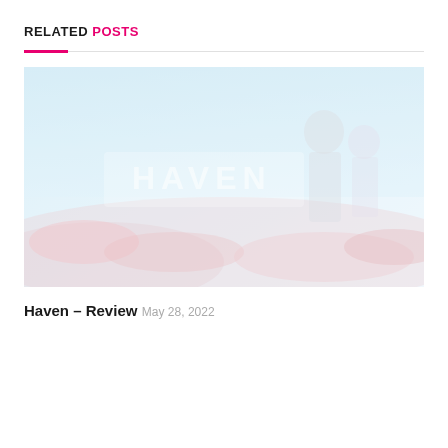RELATED POSTS
[Figure (photo): Washed-out, light blue-tinted game cover art for 'Haven' showing two characters in a fantasy landscape with the text HAVEN visible]
Haven – Review
May 28, 2022